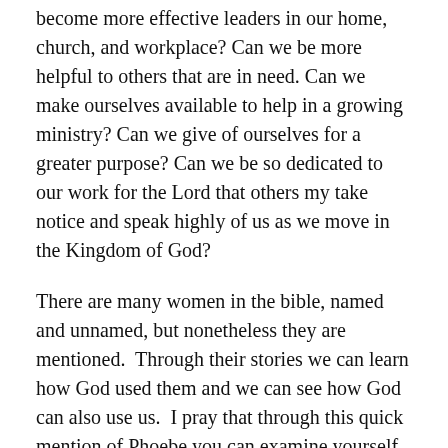become more effective leaders in our home, church, and workplace? Can we be more helpful to others that are in need. Can we make ourselves available to help in a growing ministry? Can we give of ourselves for a greater purpose? Can we be so dedicated to our work for the Lord that others my take notice and speak highly of us as we move in the Kingdom of God?
There are many women in the bible, named and unnamed, but nonetheless they are mentioned.  Through their stories we can learn how God used them and we can see how God can also use us.  I pray that through this quick mention of Phoebe you can examine yourself and see the Phoebe inside of you and begin to move forward the calling God